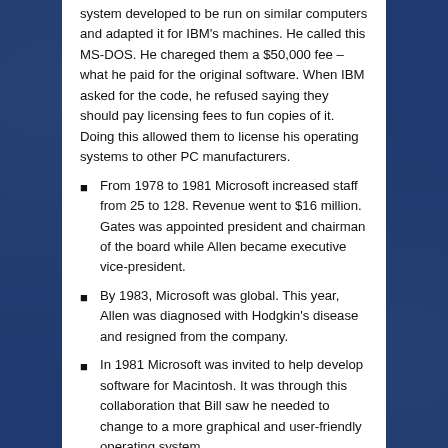system developed to be run on similar computers and adapted it for IBM's machines. He called this MS-DOS. He chareged them a $50,000 fee – what he paid for the original software. When IBM asked for the code, he refused saying they should pay licensing fees to fun copies of it. Doing this allowed them to license his operating systems to other PC manufacturers.
From 1978 to 1981 Microsoft increased staff from 25 to 128. Revenue went to $16 million. Gates was appointed president and chairman of the board while Allen became executive vice-president.
By 1983, Microsoft was global. This year, Allen was diagnosed with Hodgkin's disease and resigned from the company.
In 1981 Microsoft was invited to help develop software for Macintosh. It was through this collaboration that Bill saw he needed to change to a more graphical and user-friendly operating system.
In 1985, Windows was launched.
In 1986, Microsoft was taken public with an IPO of